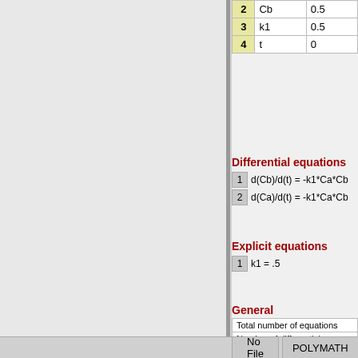| # | Name | Value |
| --- | --- | --- |
| 2 | Cb | 0.5 |
| 3 | k1 | 0.5 |
| 4 | t | 0 |
Differential equations
1  d(Cb)/d(t) = -k1*Ca*Cb
2  d(Ca)/d(t) = -k1*Ca*Cb
Explicit equations
1  k1 = .5
General
| Property |
| --- |
| Total number of equations |
| Number of differential equation... |
| Number of explicit equations |
| Elapsed time |
| Solution method |
| Step size guess. h |
| Truncation error tolerance. eps... |
No File   POLYMATH